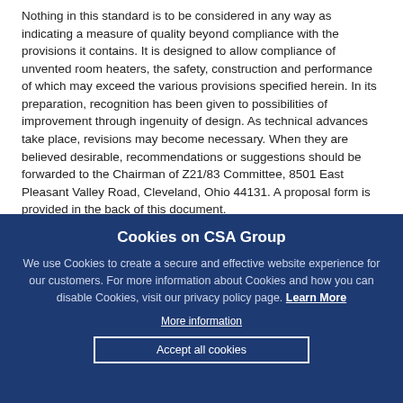Nothing in this standard is to be considered in any way as indicating a measure of quality beyond compliance with the provisions it contains. It is designed to allow compliance of unvented room heaters, the safety, construction and performance of which may exceed the various provisions specified herein. In its preparation, recognition has been given to possibilities of improvement through ingenuity of design. As technical advances take place, revisions may become necessary. When they are believed desirable, recommendations or suggestions should be forwarded to the Chairman of Z21/83 Committee, 8501 East Pleasant Valley Road, Cleveland, Ohio 44131. A proposal form is provided in the back of this document.

Safe and satisfactory operation of a gas-fired unvented room
Cookies on CSA Group
We use Cookies to create a secure and effective website experience for our customers. For more information about Cookies and how you can disable Cookies, visit our privacy policy page. Learn More
More information
Accept all cookies